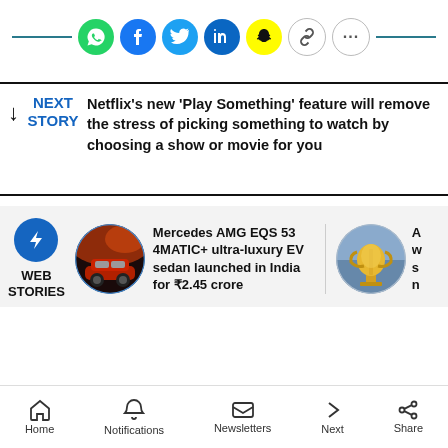[Figure (infographic): Social media share buttons row: WhatsApp (green), Facebook (blue), Twitter (light blue), LinkedIn (dark blue), Snapchat (yellow), Link (white/grey), More (white/grey dots)]
NEXT STORY — Netflix's new 'Play Something' feature will remove the stress of picking something to watch by choosing a show or movie for you
[Figure (infographic): Web Stories section with lightning bolt icon, car story thumbnail (Mercedes AMG EQS 53 4MATIC+ ultra-luxury EV sedan launched in India for ₹2.45 crore) and a partially visible trophy thumbnail]
Home | Notifications | Newsletters | Next | Share